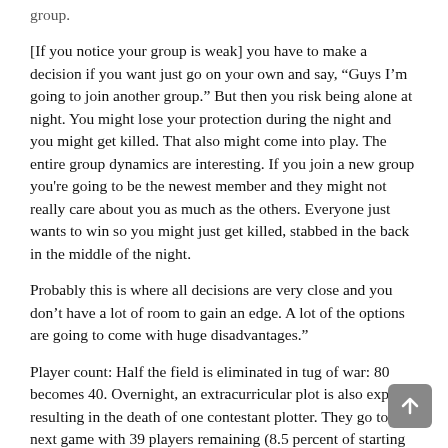group.
[If you notice your group is weak] you have to make a decision if you want just go on your own and say, “Guys I’m going to join another group.” But then you risk being alone at night. You might lose your protection during the night and you might get killed. That also might come into play. The entire group dynamics are interesting. If you join a new group you're going to be the newest member and they might not really care about you as much as the others. Everyone just wants to win so you might just get killed, stabbed in the back in the middle of the night.
Probably this is where all decisions are very close and you don’t have a lot of room to gain an edge. A lot of the options are going to come with huge disadvantages."
Player count: Half the field is eliminated in tug of war: 80 becomes 40. Overnight, an extracurricular plot is also exposed resulting in the death of one contestant plotter. They go to the next game with 39 players remaining (8.5 percent of starting field).